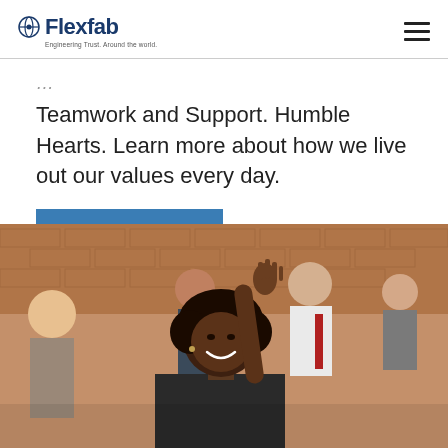Flexfab — Engineering Trust. Around the world.
Teamwork and Support. Humble Hearts. Learn more about how we live out our values every day.
OUR VALUES
[Figure (photo): Group of diverse people in a meeting or classroom setting, with a smiling Black woman raising her hand in the foreground, and other attendees visible behind her against a brick wall background.]